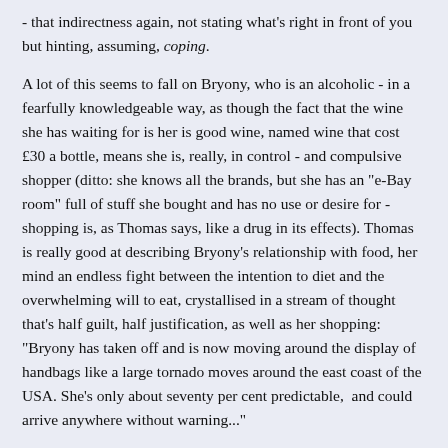- that indirectness again, not stating what's right in front of you but hinting, assuming, coping.
A lot of this seems to fall on Bryony, who is an alcoholic - in a fearfully knowledgeable way, as though the fact that the wine she has waiting for is her is good wine, named wine that cost £30 a bottle, means she is, really, in control - and compulsive shopper (ditto: she knows all the brands, but she has an "e-Bay room" full of stuff she bought and has no use or desire for - shopping is, as Thomas says, like a drug in its effects). Thomas is really good at describing Bryony's relationship with food, her mind an endless fight between the intention to diet and the overwhelming will to eat, crystallised in a stream of thought that's half guilt, half justification, as well as her shopping: "Bryony has taken off and is now moving around the display of handbags like a large tornado moves around the east coast of the USA. She's only about seventy per cent predictable,  and could arrive anywhere without warning..."
Bryony is a magnificent creation, sympathetic and horrible at the same time. However, this entire family seems pretty dysfunctional.  While a lot of what they're going through might attract the hashtag